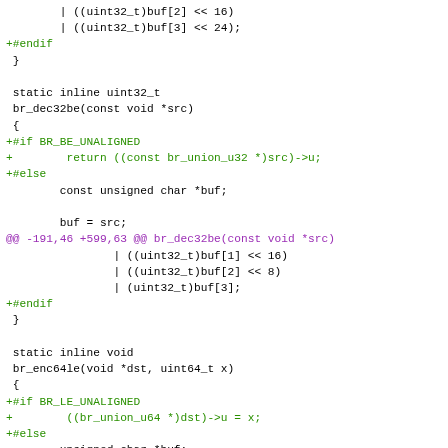[Figure (screenshot): Code diff showing C source code for br_dec32be and br_enc64le functions with added lines (green) for preprocessor directives and diff hunk header (purple)]